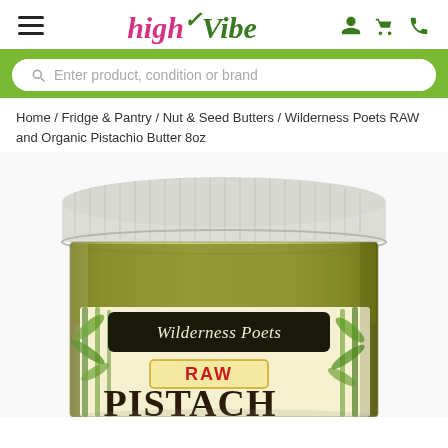highVibe — navigation header with hamburger menu, logo, and user/cart/phone icons
Enter product, condition or brand
Home / Fridge & Pantry / Nut & Seed Butters / Wilderness Poets RAW and Organic Pistachio Butter 8oz
[Figure (photo): Close-up photo of a glass jar of Wilderness Poets RAW Pistachio Butter with a white metal lid, showing the product label with bamboo imagery and the text 'Wilderness Poets', 'RAW', and 'PISTACHIO' on the label. The jar is photographed against a white background.]